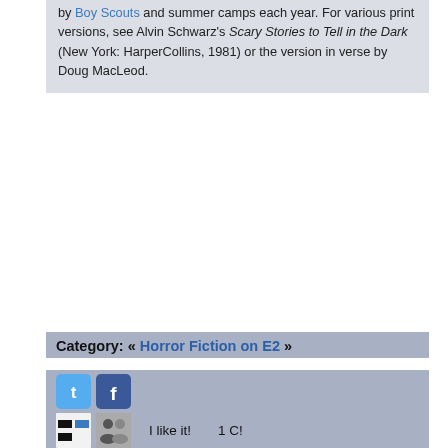by Boy Scouts and summer camps each year. For various print versions, see Alvin Schwarz's Scary Stories to Tell in the Dark (New York: HarperCollins, 1981) or the version in verse by Doug MacLeod.
Category: « Horror Fiction on E2 »
[Figure (screenshot): Social media sharing icons: Twitter, Facebook, del.icio.us bookmarks, user icon, StumbleUpon, Reddit. Also 'I like it!' button and '1 C!' count.]
by (definition) Webster 1913  Wed Dec 22 1999 at 4:17:30
Vi"per (?), n. [F. vipere, L. vipera, probably contr. fr. vivipera; vivus alive +